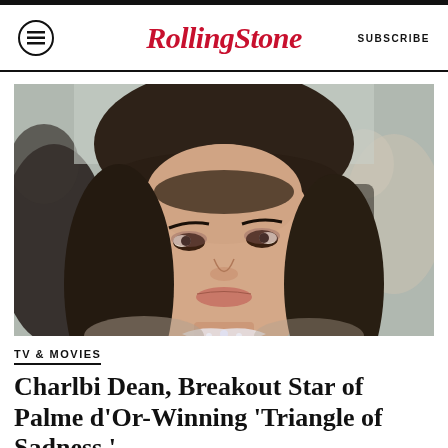Rolling Stone  SUBSCRIBE
[Figure (photo): Close-up photo of Charlbi Dean at a red carpet event, with long brown hair with bangs, wearing a diamond necklace, other people blurred in the background]
TV & MOVIES
Charlbi Dean, Breakout Star of Palme d'Or-Winning 'Triangle of Sadness,'